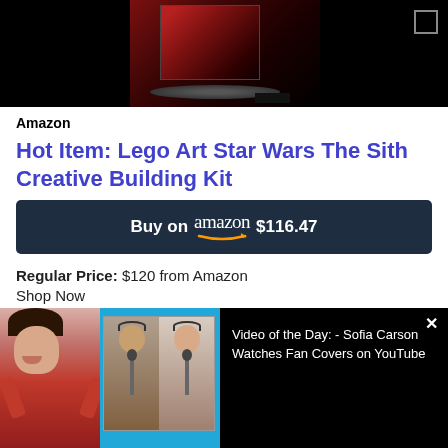[Figure (screenshot): Product images: black panel on left, Lego Star Wars Sith product photo in center, black panel with expand icon on right]
Amazon
Hot Item: Lego Art Star Wars The Sith Creative Building Kit
[Figure (infographic): Dark navy buy button: Buy on amazon $116.47]
Regular Price: $120 from Amazon
Shop Now
[Figure (screenshot): Video overlay: thumbnail of woman in red and two singers, with text 'Video of the Day: - Sofia Carson Watches Fan Covers on YouTube' and close X button]
measures 15.5 inches square and contains more than 3,400 pieces (and comes with a downloadable soundtrack). Build